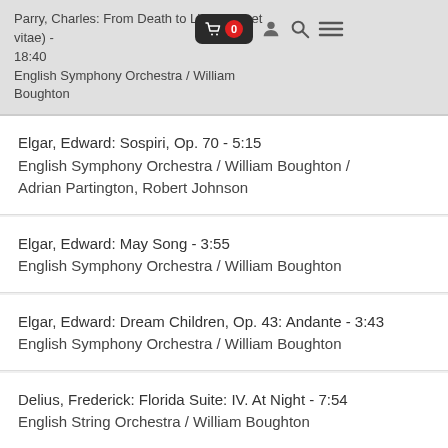Parry, Charles: From Death to Life (Mors et vitae) - 18:40
English Symphony Orchestra / William Boughton
Elgar, Edward: Sospiri, Op. 70 - 5:15
English Symphony Orchestra / William Boughton / Adrian Partington, Robert Johnson
Elgar, Edward: May Song - 3:55
English Symphony Orchestra / William Boughton
Elgar, Edward: Dream Children, Op. 43: Andante - 3:43
English Symphony Orchestra / William Boughton
Delius, Frederick: Florida Suite: IV. At Night - 7:54
English String Orchestra / William Boughton
Vaughan Williams, Ralph: Oboe Concerto: I. Rondo Pastorale - 6:54
English String Orchestra / William Boughton / Maurice...